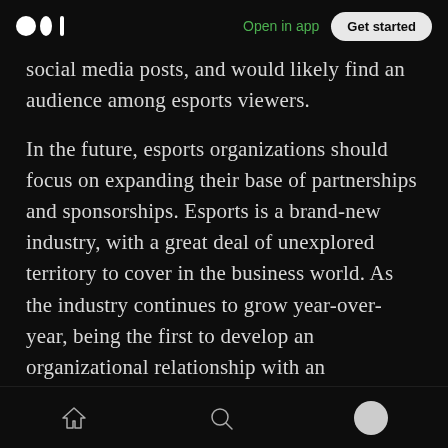Medium logo | Open in app | Get started
social media posts, and would likely find an audience among esports viewers.
In the future, esports organizations should focus on expanding their base of partnerships and sponsorships. Esports is a brand-new industry, with a great deal of unexplored territory to cover in the business world. As the industry continues to grow year-over-year, being the first to develop an organizational relationship with an established brand would speak volumes both to the ambition of an esports organization, as well
Home | Search | Profile